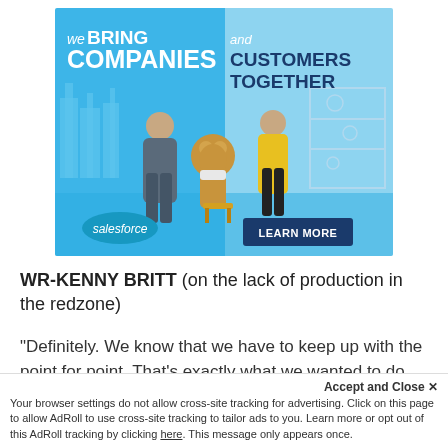[Figure (advertisement): Salesforce advertisement banner showing 'We BRING COMPANIES and CUSTOMERS TOGETHER' with two people and a bear mascot (Astro), a Salesforce logo, and a 'LEARN MORE' button on a blue background.]
WR-KENNY BRITT (on the lack of production in the redzone)
"Definitely.  We know that we have to keep up with the point for point.  That's exactly what we wanted to do.
Accept and Close ✕
Your browser settings do not allow cross-site tracking for advertising. Click on this page to allow AdRoll to use cross-site tracking to tailor ads to you. Learn more or opt out of this AdRoll tracking by clicking here. This message only appears once.